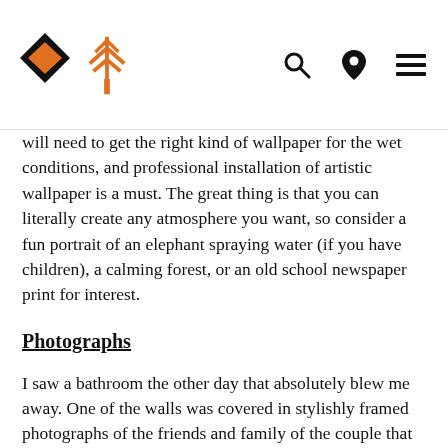[Logo: S + tree icon] [Search icon] [Location icon] [Menu icon]
will need to get the right kind of wallpaper for the wet conditions, and professional installation of artistic wallpaper is a must. The great thing is that you can literally create any atmosphere you want, so consider a fun portrait of an elephant spraying water (if you have children), a calming forest, or an old school newspaper print for interest.
Photographs
I saw a bathroom the other day that absolutely blew me away. One of the walls was covered in stylishly framed photographs of the friends and family of the couple that own the home. At first I thought it was some kind of wall of shame, but in actual fact the photos created a sense of fun. The possibility of distraction is also a useful tool if your bathroom is